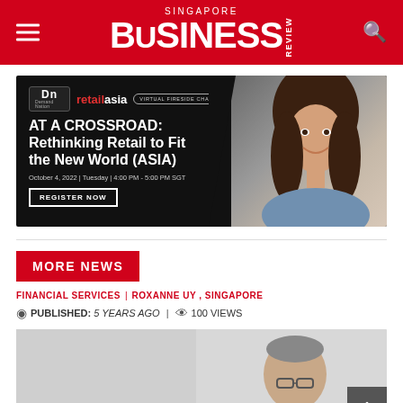Singapore Business Review
[Figure (infographic): Advertisement banner for Retail Asia Virtual Fireside Chat: AT A CROSSROAD: Rethinking Retail to Fit the New World (ASIA). October 4, 2022 | Tuesday | 4:00 PM - 5:00 PM SGT. Register Now button.]
MORE NEWS
FINANCIAL SERVICES | ROXANNE UY , SINGAPORE
PUBLISHED: 5 YEARS AGO | 100 VIEWS
[Figure (photo): Photo of a man wearing glasses, partial view, on a light background]